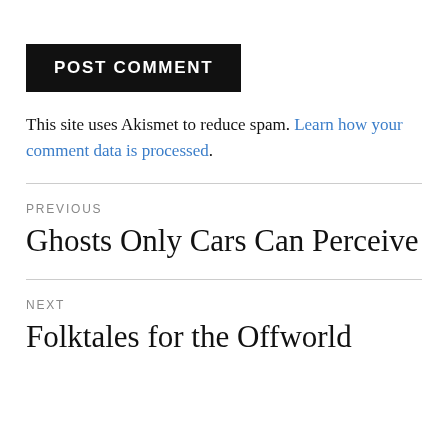POST COMMENT
This site uses Akismet to reduce spam. Learn how your comment data is processed.
PREVIOUS
Ghosts Only Cars Can Perceive
NEXT
Folktales for the Offworld